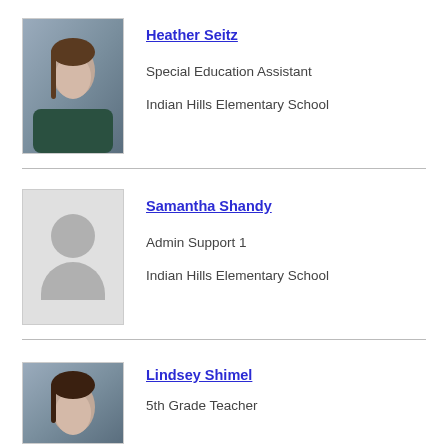[Figure (photo): Headshot photo of Heather Seitz, a woman with brown hair in a braid, wearing a dark top]
Heather Seitz
Special Education Assistant
Indian Hills Elementary School
[Figure (photo): Placeholder silhouette image for Samantha Shandy]
Samantha Shandy
Admin Support 1
Indian Hills Elementary School
[Figure (photo): Headshot photo of Lindsey Shimel, partially visible]
Lindsey Shimel
5th Grade Teacher